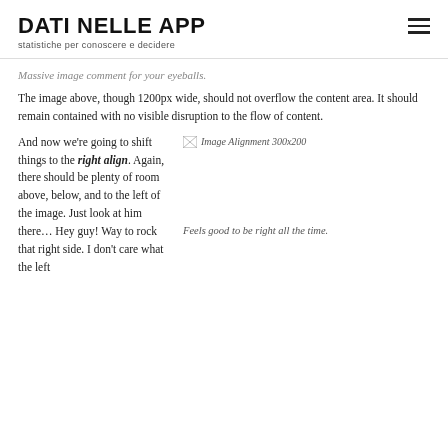DATI NELLE APP
statistiche per conoscere e decidere
Massive image comment for your eyeballs.
The image above, though 1200px wide, should not overflow the content area. It should remain contained with no visible disruption to the flow of content.
[Figure (other): Image Alignment 300x200 placeholder with broken image icon]
And now we’re going to shift things to the right align. Again, there should be plenty of room above, below, and to the left of the image. Just look at him there… Hey guy! Way to rock that right side. I don’t care what the left
Feels good to be right all the time.